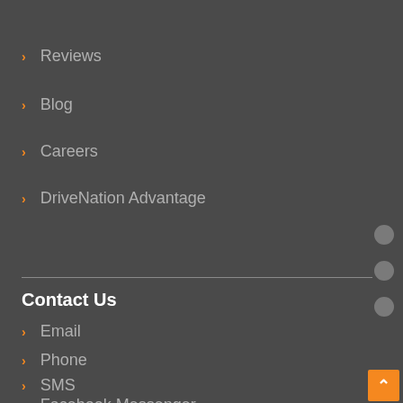[Figure (logo): DriveNation logo with orange double chevron arrows and DN text]
[Figure (screenshot): Orange GET PRE-APPROVED button]
[Figure (screenshot): White hamburger menu icon button]
Reviews
Blog
Careers
DriveNation Advantage
Contact Us
Email
Phone
SMS
Facebook Messenger